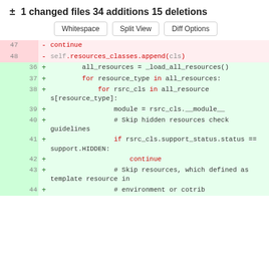± 1 changed files 34 additions 15 deletions
Whitespace | Split View | Diff Options
[Figure (screenshot): Code diff view showing removed lines 47-48 (continue, self.resources_classes.append(cls)) and added lines 36-44 with resource loading and iteration logic.]